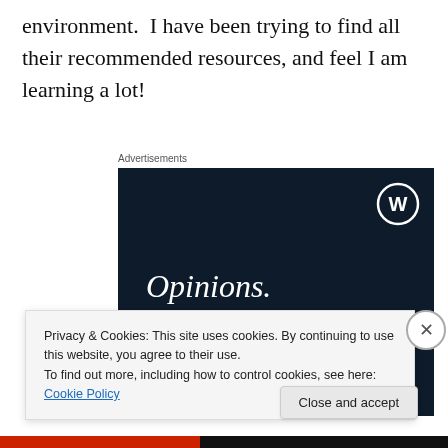environment.  I have been trying to find all their recommended resources, and feel I am learning a lot!
Advertisements
[Figure (illustration): WordPress advertisement banner with dark navy background. Shows WordPress logo (W in circle) top right. Text reads 'Opinions. We all have them!' in white serif font. Pink button at bottom left, light circle element bottom right.]
Privacy & Cookies: This site uses cookies. By continuing to use this website, you agree to their use.
To find out more, including how to control cookies, see here: Cookie Policy